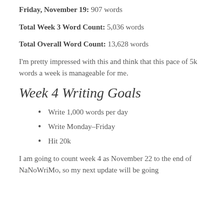Friday, November 19: 907 words
Total Week 3 Word Count: 5,036 words
Total Overall Word Count: 13,628 words
I'm pretty impressed with this and think that this pace of 5k words a week is manageable for me.
Week 4 Writing Goals
Write 1,000 words per day
Write Monday–Friday
Hit 20k
I am going to count week 4 as November 22 to the end of NaNoWriMo, so my next update will be going